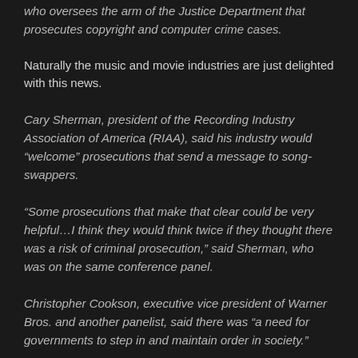who oversees the arm of the Justice Department that prosecutes copyright and computer crime cases.
Naturally the music and movie industries are just delighted with this news.
Cary Sherman, president of the Recording Industry Association of America (RIAA), said his industry would “welcome” prosecutions that send a message to song-swappers.
“Some prosecutions that make that clear could be very helpful…I think they would think twice if they thought there was a risk of criminal prosecution,” said Sherman, who was on the same conference panel.
Christopher Cookson, executive vice president of Warner Bros. and another panelist, said there was “a need for governments to step in and maintain order in society.”
Yeah, he’s right. Those rampaging mobs of file swappers tearing up the streets is just getting out of hand. As much as I dislike the business models that the music and movie